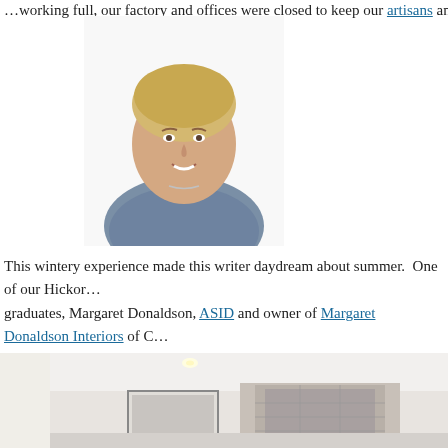...working full, our factory and offices were closed to keep our artisans and craftsmen s...
[Figure (photo): Professional headshot of a blonde woman (Margaret Donaldson) smiling, wearing a grey patterned top, against a white background.]
This wintery experience made this writer daydream about summer. One of our Hickory graduates, Margaret Donaldson, ASID and owner of Margaret Donaldson Interiors of Charlotte, shared some pictures of a clients home in Sullivan's Island, SC. Margaret was challenged to give a contemporary home. She shared with us pictures from the installation. The artwork and accessories are from the client. I trust you will be able to appreciate the modern aesthetic our craftsmen were able to bring with some upholstery that was made to order for Margaret and her client.
[Figure (photo): Interior room photo showing a modern living space with white walls, recessed lighting, and a stone fireplace surround.]